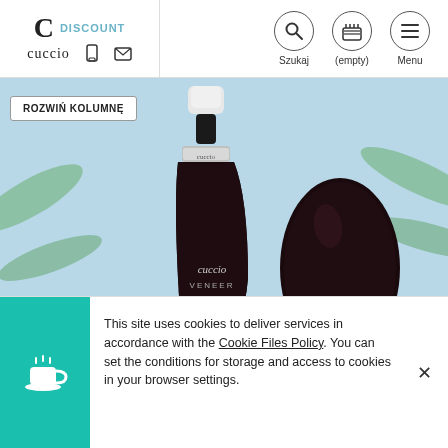[Figure (screenshot): Website header with Cuccio Discount logo on left, phone and email icons, and navigation icons (search, cart, menu) on right]
ROZWIŃ KOLUMNĘ
[Figure (photo): Cuccio Veneer Soak Off Gel nail polish bottle in dark burgundy/black color, shown with a nail swatch of the same dark shade, against a light blue tropical background]
This site uses cookies to deliver services in accordance with the Cookie Files Policy. You can set the conditions for storage and access to cookies in your browser settings.